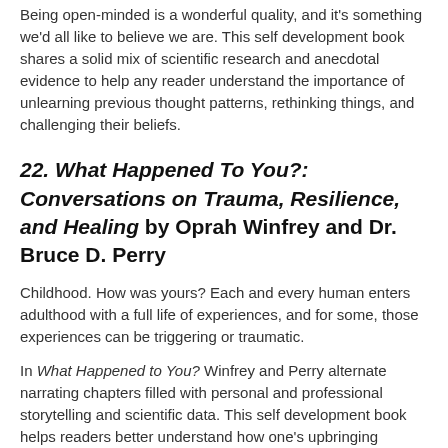Being open-minded is a wonderful quality, and it's something we'd all like to believe we are. This self development book shares a solid mix of scientific research and anecdotal evidence to help any reader understand the importance of unlearning previous thought patterns, rethinking things, and challenging their beliefs.
22. What Happened To You?: Conversations on Trauma, Resilience, and Healing by Oprah Winfrey and Dr. Bruce D. Perry
Childhood. How was yours? Each and every human enters adulthood with a full life of experiences, and for some, those experiences can be triggering or traumatic.
In What Happened to You? Winfrey and Perry alternate narrating chapters filled with personal and professional storytelling and scientific data. This self development book helps readers better understand how one's upbringing influences their adulthood and how to break cycles and push past what's happened in the past.
So why does this matter for you? Well, if you consider yourself